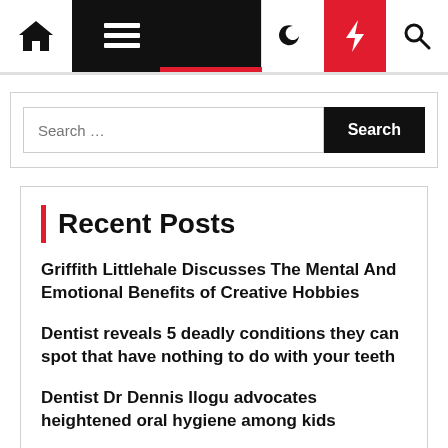Navigation bar with home, menu, moon, bolt, and search icons
Search ...
Recent Posts
Griffith Littlehale Discusses The Mental And Emotional Benefits of Creative Hobbies
Dentist reveals 5 deadly conditions they can spot that have nothing to do with your teeth
Dentist Dr Dennis Ilogu advocates heightened oral hygiene among kids
Black Dentist Launches Mobile Dental Services